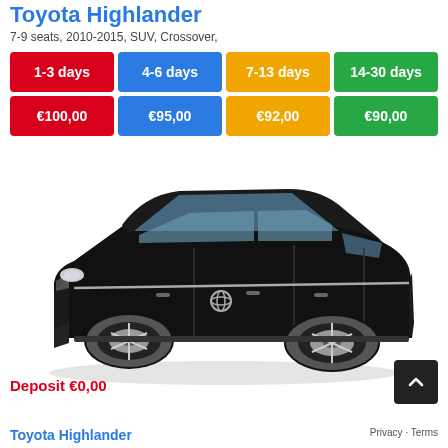Toyota Highlander
7-9 seats, 2010-2015, SUV, Crossover,
| 1-3 days | 4-6 days | 7-13 days | 14-30 days |
| --- | --- | --- | --- |
| €100,00 | €95,00 | €92,00 | €90,00 |
[Figure (photo): Black Toyota Highlander SUV, 3/4 front view on white background]
Deposit €0,00
Toyota Highlander